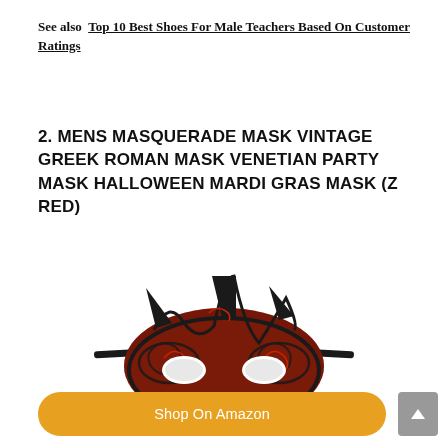See also  Top 10 Best Shoes For Male Teachers Based On Customer Ratings
2. MENS MASQUERADE MASK VINTAGE GREEK ROMAN MASK VENETIAN PARTY MASK HALLOWEEN MARDI GRAS MASK (Z RED)
[Figure (photo): A red and black Venetian masquerade mask with decorative scrollwork patterns and spike-like crown elements, with a black ribbon tie.]
Shop On Amazon